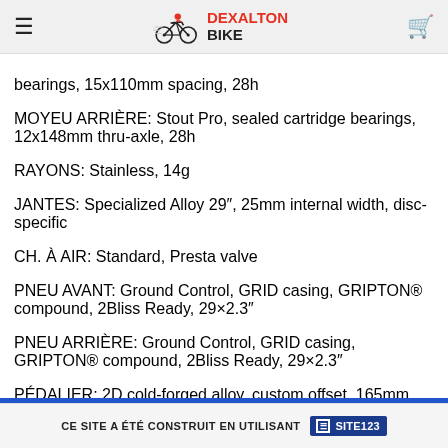DEXALTON BIKE — navigation header
bearings, 15x110mm spacing, 28h
MOYEU ARRIÈRE: Stout Pro, sealed cartridge bearings, 12x148mm thru-axle, 28h
RAYONS: Stainless, 14g
JANTES: Specialized Alloy 29″, 25mm internal width, disc-specific
CH. À AIR: Standard, Presta valve
PNEU AVANT: Ground Control, GRID casing, GRIPTON® compound, 2Bliss Ready, 29×2.3″
PNEU ARRIÈRE: Ground Control, GRID casing, GRIPTON® compound, 2Bliss Ready, 29×2.3″
PÉDALIER: 2D cold-forged alloy, custom offset, 165mm
PLATEAUX: 32T, custom steel
MANETTES DE DÉR.: Shimano Acera, 8-speed
DÉR. ARRIÈRE: Shimano Acera, SGS cage, 8-speed
CASSETTE: Shimano HG41, 8-speed, 11-34t
CHAÎNE: KMC X8 w/ Missing Link™, 8-speed
CE SITE A ÉTÉ CONSTRUIT EN UTILISANT SITE123